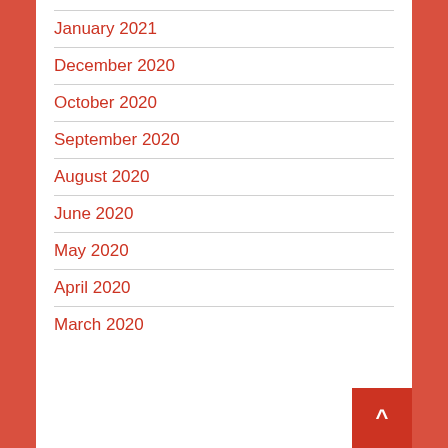January 2021
December 2020
October 2020
September 2020
August 2020
June 2020
May 2020
April 2020
March 2020